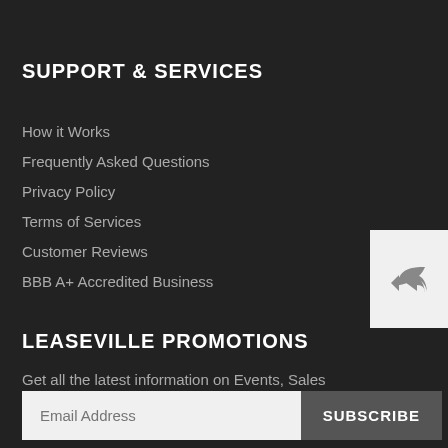SUPPORT & SERVICES
How it Works
Frequently Asked Questions
Privacy Policy
Terms of Services
Customer Reviews
BBB A+ Accredited Business
LEASEVILLE PROMOTIONS
Get all the latest information on Events, Sales and Offers. Sign up today!
Email Address SUBSCRIBE